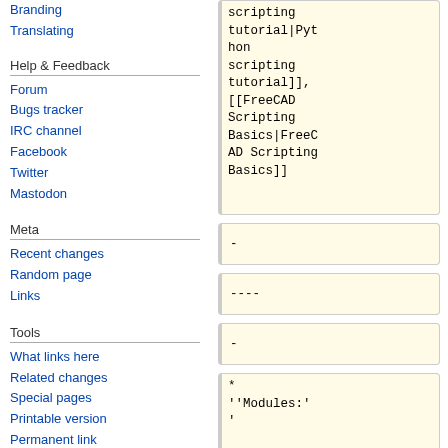Branding
Translating
Help & Feedback
Forum
Bugs tracker
IRC channel
Facebook
Twitter
Mastodon
Meta
Recent changes
Random page
Links
Tools
What links here
Related changes
Special pages
Printable version
Permanent link
Page information
scripting tutorial|Python scripting tutorial]], [[FreeCAD Scripting Basics|FreeCAD Scripting Basics]]
-
----
-
* ''Modules:'' [[Builtin_modules|Builtin_modules]]